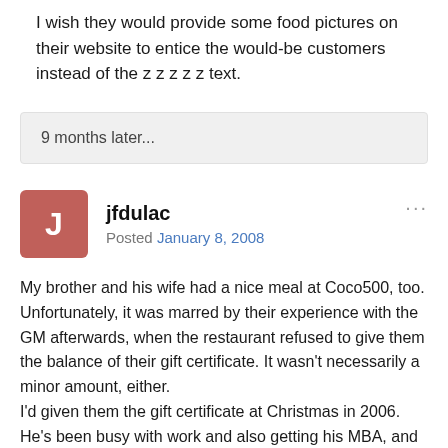I wish they would provide some food pictures on their website to entice the would-be customers instead of the z z z z z text.
9 months later...
jfdulac
Posted January 8, 2008
My brother and his wife had a nice meal at Coco500, too. Unfortunately, it was marred by their experience with the GM afterwards, when the restaurant refused to give them the balance of their gift certificate. It wasn't necessarily a minor amount, either.
I'd given them the gift certificate at Christmas in 2006. He's been busy with work and also getting his MBA, and she's been working on a graduate degree, as well, so it took them a while to get to the restaurant. Finally dined there in December of 2007. "Really great food and service," he says. But at the end of the meal, they're told they have to forfeit the remaining balance of about $50...